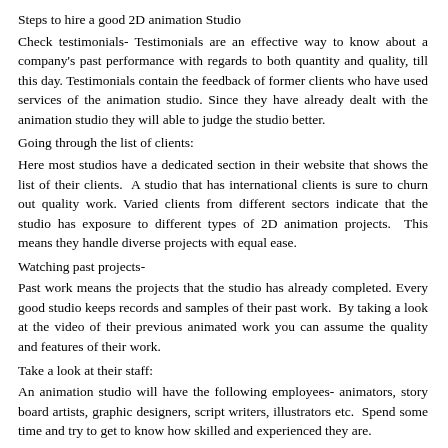Steps to hire a good 2D animation Studio
Check testimonials- Testimonials are an effective way to know about a company's past performance with regards to both quantity and quality, till this day. Testimonials contain the feedback of former clients who have used services of the animation studio. Since they have already dealt with the animation studio they will able to judge the studio better.
Going through the list of clients:
Here most studios have a dedicated section in their website that shows the list of their clients.  A studio that has international clients is sure to churn out quality work. Varied clients from different sectors indicate that the studio has exposure to different types of 2D animation projects.  This means they handle diverse projects with equal ease.
Watching past projects-
Past work means the projects that the studio has already completed. Every good studio keeps records and samples of their past work.  By taking a look at the video of their previous animated work you can assume the quality and features of their work.
Take a look at their staff:
An animation studio will have the following employees- animators, story board artists, graphic designers, script writers, illustrators etc.  Spend some time and try to get to know how skilled and experienced they are.
List of awards and achievements-